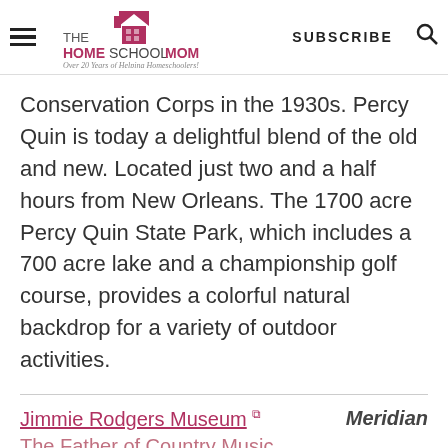THE HOMESCHOOL MOM — Over 20 Years of Helping Homeschoolers! | SUBSCRIBE
Conservation Corps in the 1930s. Percy Quin is today a delightful blend of the old and new. Located just two and a half hours from New Orleans. The 1700 acre Percy Quin State Park, which includes a 700 acre lake and a championship golf course, provides a colorful natural backdrop for a variety of outdoor activities.
Jimmie Rodgers Museum  The Father of Country Music | Meridian